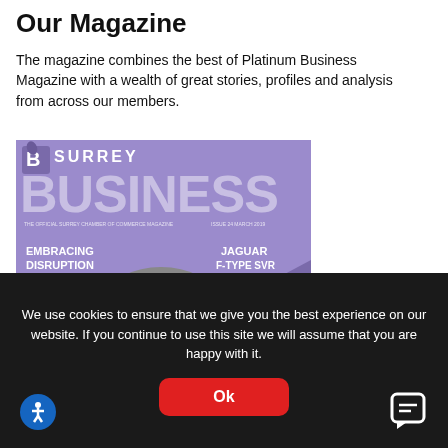Our Magazine
The magazine combines the best of Platinum Business Magazine with a wealth of great stories, profiles and analysis from across our members.
[Figure (photo): Surrey Business magazine cover with purple/violet background, large white 'BUSINESS' text, headings 'EMBRACING DISRUPTION' and 'JAGUAR F-TYPE SVR AN EVERYDAY SUPERCAR', and a man's face in the center]
We use cookies to ensure that we give you the best experience on our website. If you continue to use this site we will assume that you are happy with it.